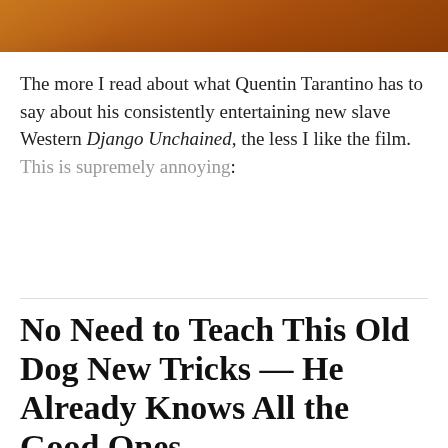[Figure (photo): A warm-toned photograph at the top of the page, showing figures with orange and amber tones, likely from a movie still.]
The more I read about what Quentin Tarantino has to say about his consistently entertaining new slave Western Django Unchained, the less I like the film. This is supremely annoying:
No Need to Teach This Old Dog New Tricks — He Already Knows All the Good Ones
Neetzan Zimmerman · 11/06/12 10:11AM
Fetching the remote, getting stuff from the fridge, opening and closing doors — Jackson the Australian